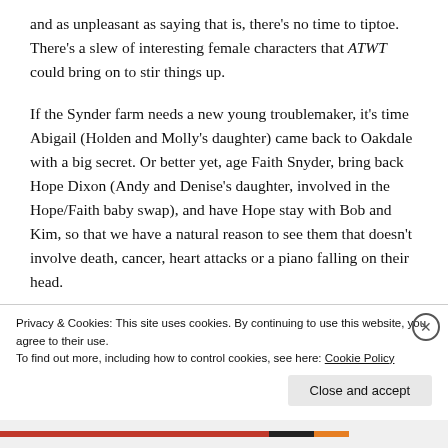and as unpleasant as saying that is, there's no time to tiptoe. There's a slew of interesting female characters that ATWT could bring on to stir things up.
If the Synder farm needs a new young troublemaker, it's time Abigail (Holden and Molly's daughter) came back to Oakdale with a big secret. Or better yet, age Faith Snyder, bring back Hope Dixon (Andy and Denise's daughter, involved in the Hope/Faith baby swap), and have Hope stay with Bob and Kim, so that we have a natural reason to see them that doesn't involve death, cancer, heart attacks or a piano falling on their head.
Privacy & Cookies: This site uses cookies. By continuing to use this website, you agree to their use.
To find out more, including how to control cookies, see here: Cookie Policy